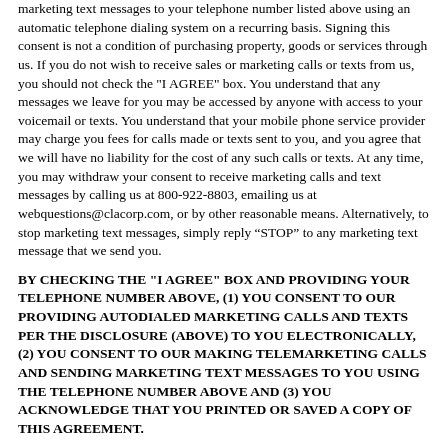marketing text messages to your telephone number listed above using an automatic telephone dialing system on a recurring basis. Signing this consent is not a condition of purchasing property, goods or services through us. If you do not wish to receive sales or marketing calls or texts from us, you should not check the "I AGREE" box. You understand that any messages we leave for you may be accessed by anyone with access to your voicemail or texts. You understand that your mobile phone service provider may charge you fees for calls made or texts sent to you, and you agree that we will have no liability for the cost of any such calls or texts. At any time, you may withdraw your consent to receive marketing calls and text messages by calling us at 800-922-8803, emailing us at webquestions@clacorp.com, or by other reasonable means. Alternatively, to stop marketing text messages, simply reply “STOP” to any marketing text message that we send you.
BY CHECKING THE "I AGREE" BOX AND PROVIDING YOUR TELEPHONE NUMBER ABOVE, (1) YOU CONSENT TO OUR PROVIDING AUTODIALED MARKETING CALLS AND TEXTS PER THE DISCLOSURE (ABOVE) TO YOU ELECTRONICALLY, (2) YOU CONSENT TO OUR MAKING TELEMARKETING CALLS AND SENDING MARKETING TEXT MESSAGES TO YOU USING THE TELEPHONE NUMBER ABOVE AND (3) YOU ACKNOWLEDGE THAT YOU PRINTED OR SAVED A COPY OF THIS AGREEMENT.